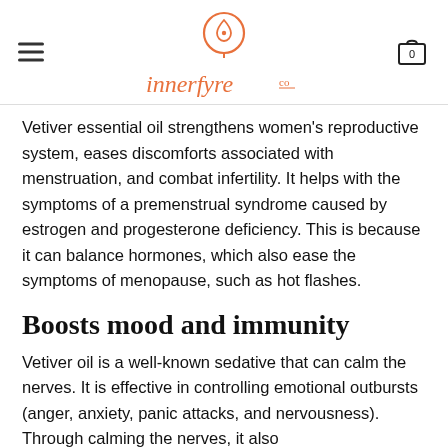innerfyre co
Vetiver essential oil strengthens women's reproductive system, eases discomforts associated with menstruation, and combat infertility. It helps with the symptoms of a premenstrual syndrome caused by estrogen and progesterone deficiency. This is because it can balance hormones, which also ease the symptoms of menopause, such as hot flashes.
Boosts mood and immunity
Vetiver oil is a well-known sedative that can calm the nerves. It is effective in controlling emotional outbursts (anger, anxiety, panic attacks, and nervousness). Through calming the nerves, it also